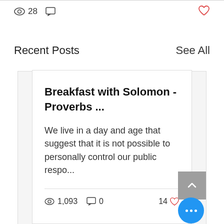28 [views icon] [comment icon] [heart icon]
Recent Posts
See All
Breakfast with Solomon - Proverbs ...
We live in a day and age that suggest that it is not possible to personally control our public respo...
1,093 [views] 0 [comments] 14 [hearts]